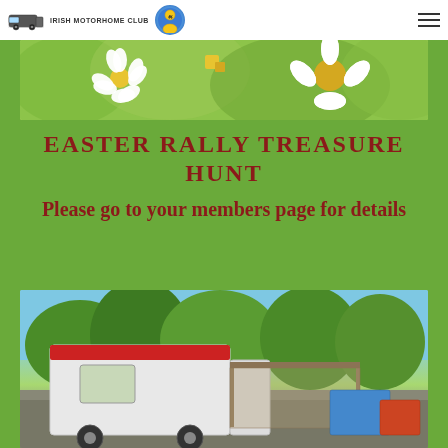IRISH MOTORHOME CLUB
[Figure (photo): Banner image of white daisy flowers with yellow centres on a green leafy background]
EASTER RALLY TREASURE HUNT
Please go to your members page for details
[Figure (photo): Photo of a white motorhome/caravan at a campsite with trees and blue sky in background]